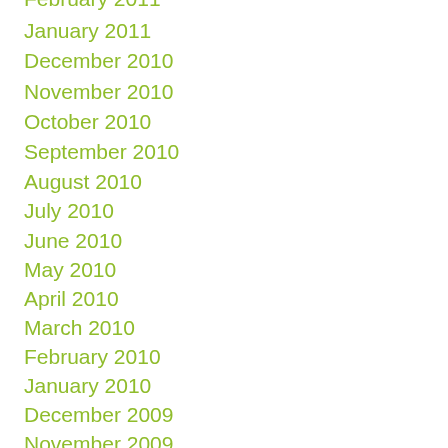January 2011
December 2010
November 2010
October 2010
September 2010
August 2010
July 2010
June 2010
May 2010
April 2010
March 2010
February 2010
January 2010
December 2009
November 2009